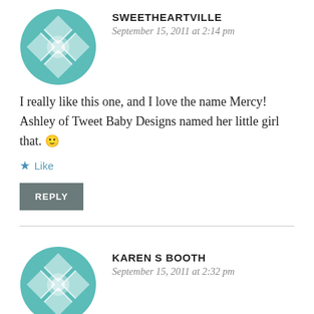[Figure (logo): Teal geometric quilt-pattern avatar for Sweetheartville]
SWEETHEARTVILLE
September 15, 2011 at 2:14 pm
I really like this one, and I love the name Mercy! Ashley of Tweet Baby Designs named her little girl that. 🙂
★ Like
REPLY
[Figure (logo): Teal geometric quilt-pattern avatar for Karen S Booth]
KAREN S BOOTH
September 15, 2011 at 2:32 pm
I LOVE this portrait and also the names of them too…… like you, I am a history lover and anything that portrays the past always interests me! LOVELY post…